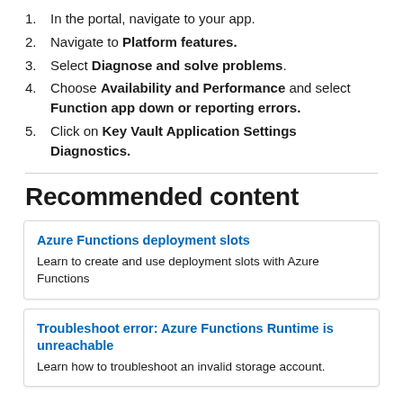1. In the portal, navigate to your app.
2. Navigate to Platform features.
3. Select Diagnose and solve problems.
4. Choose Availability and Performance and select Function app down or reporting errors.
5. Click on Key Vault Application Settings Diagnostics.
Recommended content
Azure Functions deployment slots
Learn to create and use deployment slots with Azure Functions
Troubleshoot error: Azure Functions Runtime is unreachable
Learn how to troubleshoot an invalid storage account.